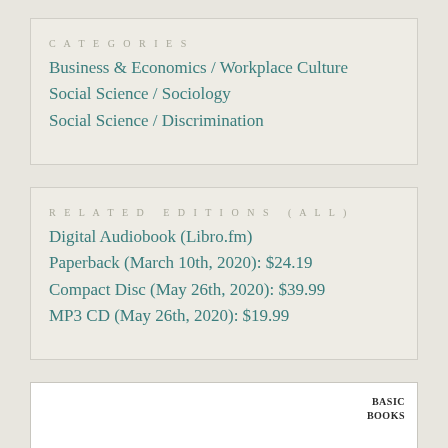CATEGORIES
Business & Economics / Workplace Culture
Social Science / Sociology
Social Science / Discrimination
RELATED EDITIONS (ALL)
Digital Audiobook (Libro.fm)
Paperback (March 10th, 2020): $24.19
Compact Disc (May 26th, 2020): $39.99
MP3 CD (May 26th, 2020): $19.99
BASIC BOOKS